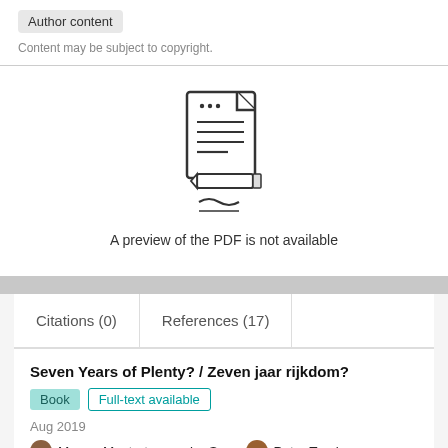Author content
Content may be subject to copyright.
[Figure (illustration): Icon of a document with lines and a pencil underneath, indicating a PDF preview placeholder]
A preview of the PDF is not available
Citations (0)
References (17)
Seven Years of Plenty? / Zeven jaar rijkdom?
Book   Full-text available
Aug 2019
Manon Mostert - van der Sar · Peter Troxler
View    Show abstract